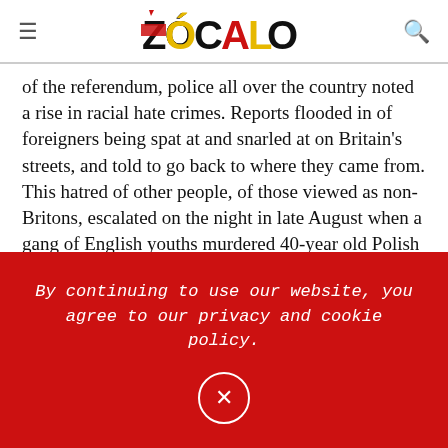ZÓCALO
of the referendum, police all over the country noted a rise in racial hate crimes. Reports flooded in of foreigners being spat at and snarled at on Britain's streets, and told to go back to where they came from. This hatred of other people, of those viewed as non-Britons, escalated on the night in late August when a gang of English youths murdered 40-year old Polish immigrant Arkadiusz Jóźwik as he was eating pizza in Harlow, just south of London, in what is widely suspected to be a hate crime. Perhaps most notoriously, on 16 June, a week shy of the vote, a man shouting "Britain first" shot and stabbed Jo
By continuing to use our website, you agree to our privacy and cookie policy.